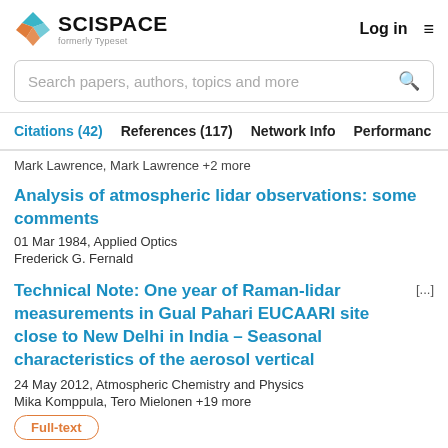[Figure (logo): SciSpace logo with geometric teal/orange icon, bold SCISPACE text, and 'formerly Typeset' subtitle]
Log in
Search papers, authors, topics and more
Citations (42)   References (117)   Network Info   Performance
Mark Lawrence, Mark Lawrence +2 more
Analysis of atmospheric lidar observations: some comments
01 Mar 1984, Applied Optics
Frederick G. Fernald
Technical Note: One year of Raman-lidar measurements in Gual Pahari EUCAARI site close to New Delhi in India – Seasonal characteristics of the aerosol vertical
24 May 2012, Atmospheric Chemistry and Physics
Mika Komppula, Tero Mielonen +19 more
Full-text